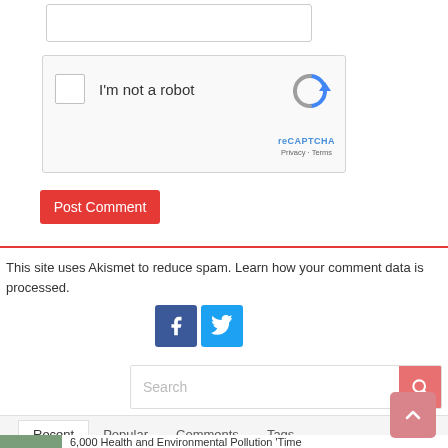[Figure (screenshot): Text input field (empty, with border)]
[Figure (screenshot): reCAPTCHA widget with checkbox 'I'm not a robot' and reCAPTCHA logo]
[Figure (screenshot): Red 'Post Comment' button]
[Figure (screenshot): Red horizontal rule divider]
This site uses Akismet to reduce spam. Learn how your comment data is processed.
[Figure (screenshot): Facebook and Twitter social media icon buttons]
[Figure (screenshot): Search bar with pink/red search button]
[Figure (screenshot): Tab navigation with Recent, Popular, Comments, Tags tabs]
6,000 Health and Environmental Pollution 'Time